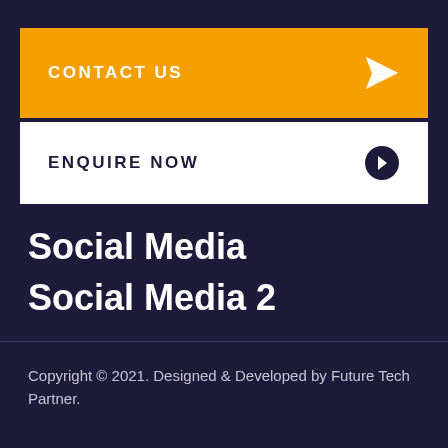CONTACT US
ENQUIRE NOW
Social Media
Social Media 2
Copyright © 2021. Designed & Developed by Future Tech Partner.